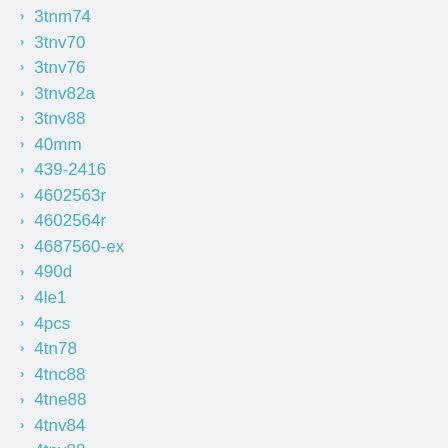3tnm74
3tnv70
3tnv76
3tnv82a
3tnv88
40mm
439-2416
4602563r
4602564r
4687560-ex
490d
4le1
4pcs
4tn78
4tnc88
4tne88
4tnv84
4tnv88
4tnv98v